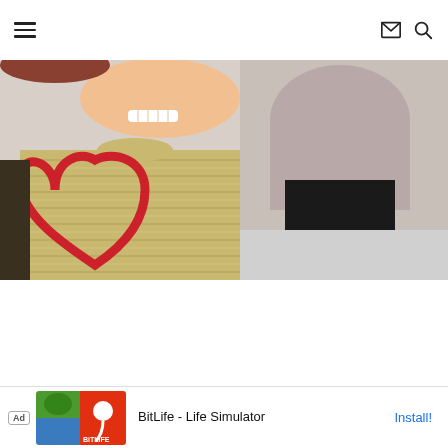Navigation header with hamburger menu, mail icon, and search icon
[Figure (photo): Close-up photo of a smiling person wearing a beige knit sweater holding a red heart-shaped item, with another person in a grey/mauve top and black pants visible on the right side.]
[Figure (infographic): Advertisement banner for BitLife - Life Simulator app with Ad badge, colorful app icon images, app title text and Install button.]